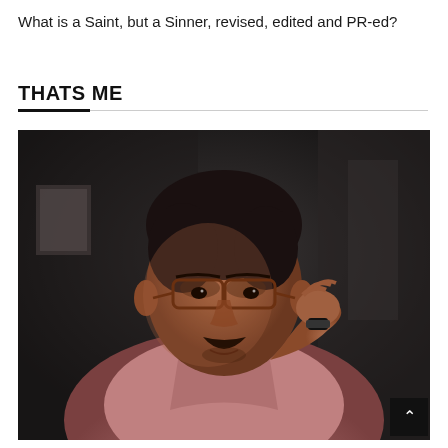What is a Saint, but a Sinner, revised, edited and PR-ed?
THATS ME
[Figure (photo): Portrait photograph of a middle-aged South Asian man wearing glasses and a pink/mauve shirt, resting his hand on his head, with a dark moody background. A black scroll-to-top arrow button is visible in the bottom-right corner of the image.]